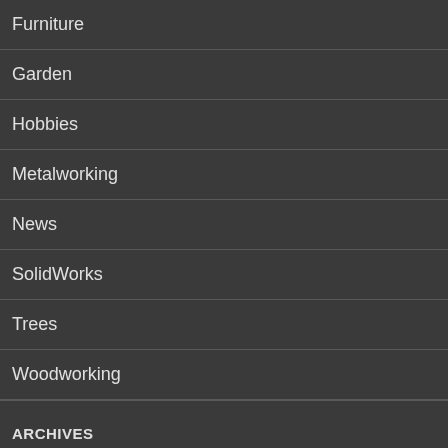Furniture
Garden
Hobbies
Metalworking
News
SolidWorks
Trees
Woodworking
ARCHIVES
March 2016